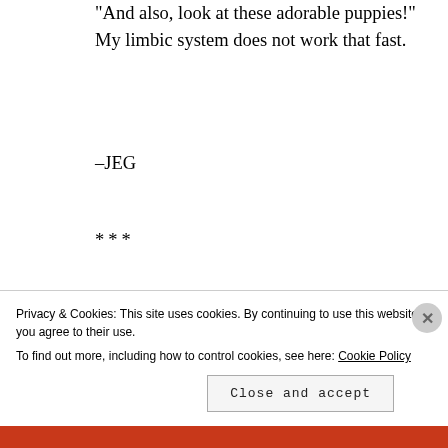“And also, look at these adorable puppies!” My limbic system does not work that fast.
–JEG
***
Super Tuesday…Mega Tuesday… what?
Comparisons are being made between Adolf Hitler and Donald
Privacy & Cookies: This site uses cookies. By continuing to use this website, you agree to their use.
To find out more, including how to control cookies, see here: Cookie Policy
Close and accept